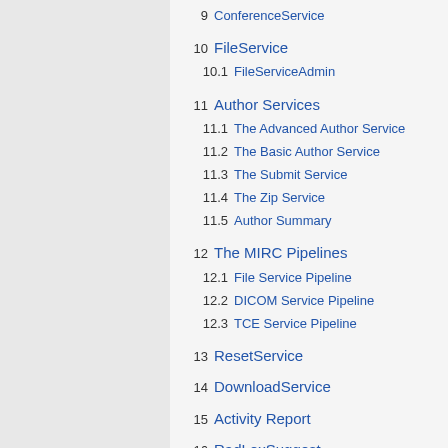9  ConferenceService
10  FileService
10.1  FileServiceAdmin
11  Author Services
11.1  The Advanced Author Service
11.2  The Basic Author Service
11.3  The Submit Service
11.4  The Zip Service
11.5  Author Summary
12  The MIRC Pipelines
12.1  File Service Pipeline
12.2  DICOM Service Pipeline
12.3  TCE Service Pipeline
13  ResetService
14  DownloadService
15  Activity Report
16  RadLexSuggest